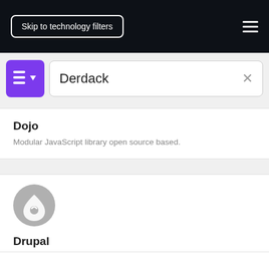Skip to technology filters
[Figure (screenshot): Purple filter/list button with list icon and dropdown arrow]
Derdack
Dojo
Modular JavaScript library open source based.
[Figure (logo): Drupal logo: grey circle with white water drop / teardrop icon]
Drupal
Web content management for back-end framework.